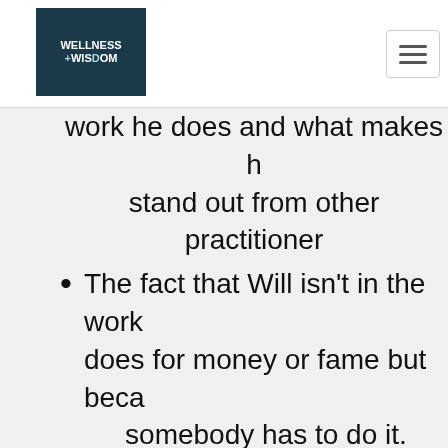Wellness + Wisdom
work he does and what makes h stand out from other practitioner
The fact that Will isn't in the work does for money or fame but beca somebody has to do it.
Will's personal experiences naviga life, pain, fear, and difficulties.
What he's discovered about esot culture and how we can apply tha the wellness journey.
How to really be "in the living" rat than above it or move away from